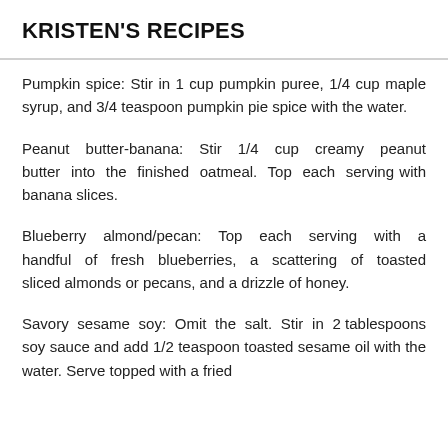KRISTEN'S RECIPES
Pumpkin spice: Stir in 1 cup pumpkin puree, 1/4 cup maple syrup, and 3/4 teaspoon pumpkin pie spice with the water.
Peanut butter-banana: Stir 1/4 cup creamy peanut butter into the finished oatmeal. Top each serving with banana slices.
Blueberry almond/pecan: Top each serving with a handful of fresh blueberries, a scattering of toasted sliced almonds or pecans, and a drizzle of honey.
Savory sesame soy: Omit the salt. Stir in 2 tablespoons soy sauce and add 1/2 teaspoon toasted sesame oil with the water. Serve topped with a fried